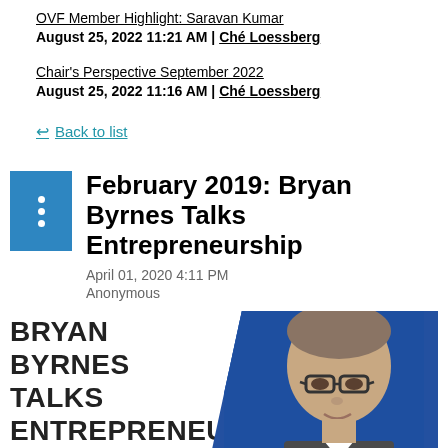OVF Member Highlight: Saravan Kumar
August 25, 2022 11:21 AM | Ché Loessberg
Chair's Perspective September 2022
August 25, 2022 11:16 AM | Ché Loessberg
← Back to list
February 2019: Bryan Byrnes Talks Entrepreneurship
April 01, 2020 4:11 PM
Anonymous
[Figure (photo): Photo of Bryan Byrnes, a middle-aged man with grey hair and glasses, against a blue background. Large uppercase text reads BRYAN BYRNES TALKS ENTREPRENEURSHIP overlaid on the left side.]